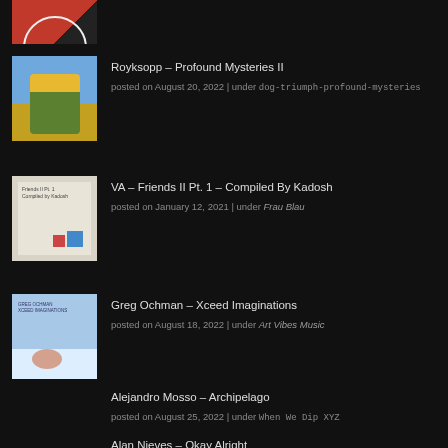[Figure (photo): Partial album art thumbnail at top of page, red/black design with text]
Royksopp – Profound Mysteries II
posted on August 20, 2022 | under dog-triumph-profound-mysteries
[Figure (photo): Album art thumbnail for Royksopp – Profound Mysteries II, colorful creature figure on blue background]
VA – Friends II Pt. 1 – Compiled By Kadosh
posted on January 12, 2021 | under Frau Blau
[Figure (photo): Album art thumbnail for VA – Friends II Pt. 1, white cover with text and colored squares]
Greg Ochman – Xceed Imaginations
posted on August 18, 2022 | under Art Vibes Music
[Figure (photo): Album art thumbnail for Greg Ochman – Xceed Imaginations, light blue background with illustrated shapes]
Alejandro Mosso – Archipelago
posted on August 25, 2022 | under When We Dip XYZ
Alan Nieves – Okay Alright